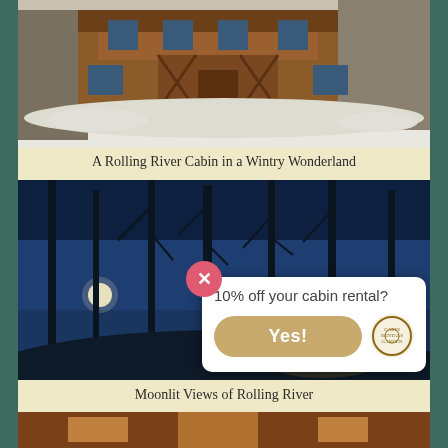[Figure (photo): A log cabin in winter snow, two-story with porch and X-cross railings, surrounded by bare trees with snowy ground]
A Rolling River Cabin in a Wintry Wonderland
[Figure (photo): Moonlit night view looking up through bare trees toward an illuminated cabin, deep blue sky]
10% off your cabin rental?
Yes!
Moonlit Views of Rolling River
[Figure (photo): Partial view of a cabin interior or exterior with warm tones, cut off at bottom of page]